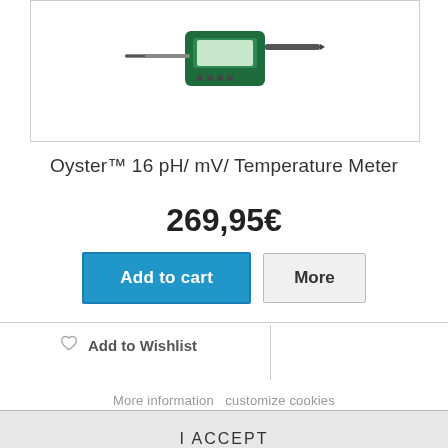[Figure (photo): Green pH/mV/Temperature meter instrument with probe, partially visible at top of page in a bordered white box.]
Oyster™ 16 pH/ mV/ Temperature Meter
269,95€
Add to cart
More
Add to Wishlist
More information   customize cookies
I ACCEPT